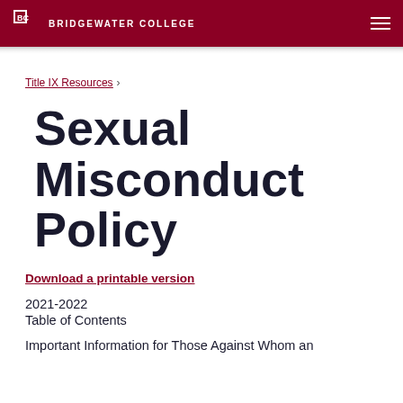BRIDGEWATER COLLEGE
Title IX Resources ›
Sexual Misconduct Policy
Download a printable version
2021-2022
Table of Contents
Important Information for Those Against Whom an